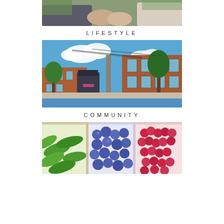[Figure (photo): Close-up photo of two people holding hands outdoors, partially cropped at top of page]
LIFESTYLE
[Figure (photo): Street view of historic brick buildings in a small town or city district, bright sunny day with blue sky, power lines visible, a tall chimney stack in the background]
COMMUNITY
[Figure (photo): Close-up of market stall display with trays of cucumbers, blueberries, and raspberries]